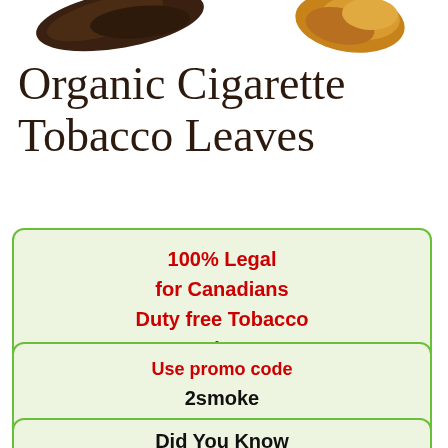[Figure (photo): Partial view of dark brown and golden/orange dried tobacco leaves at the top of the page]
Organic Cigarette Tobacco Leaves
100% Legal for Canadians Duty free Tobacco Read More
Use promo code 2smoke and save on all your Tobacco orders
Did You Know